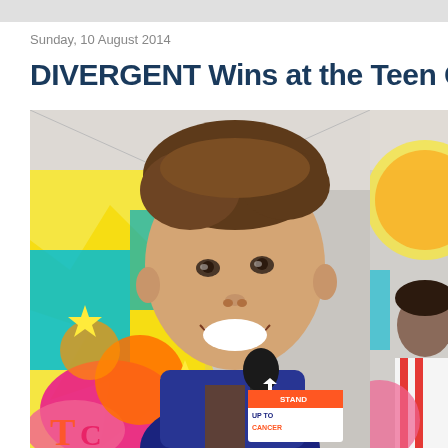Sunday, 10 August 2014
DIVERGENT Wins at the Teen C
[Figure (photo): A young man smiling being interviewed at a Teen Choice Awards event. He is holding a microphone labeled STAND UP TO CANCER. Behind him is a colorful pop-art style backdrop. To the right side, partially visible, is another person at the event.]